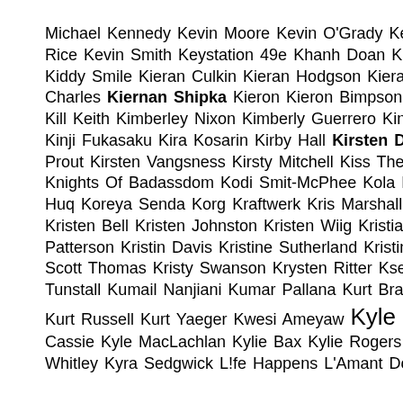Michael Kennedy Kevin Moore Kevin O'Grady Kevin Pollak Kevin Rice Kevin Smith Keystation 49e Khanh Doan Kick-Ass Kid Cudi Kiddy Smile Kieran Culkin Kieran Hodgson Kieran O'Brien Kier Charles Kiernan Shipka Kieron Kieron Bimpson Kieron Freeman Kill Keith Kimberley Nixon Kimberly Guerrero King's Lynn Town FC Kinji Fukasaku Kira Kosarin Kirby Hall Kirsten Dunst Kirsten Prout Kirsten Vangsness Kirsty Mitchell Kiss The Stars Kite Knights Of Badassdom Kodi Smit-McPhee Kola Bokinni Konnie Huq Koreya Senda Korg Kraftwerk Kris Marshall Kriss Dillon Kristen Bell Kristen Johnston Kristen Wiig Kristian Bruun Kristie Patterson Kristin Davis Kristine Sutherland Kristin Kreuk Kristin Scott Thomas Kristy Swanson Krysten Ritter Ksenia Solo KT Tunstall Kumail Nanjiani Kumar Pallana Kurt Braunohler Kurt Fuller Kurt Russell Kurt Yaeger Kwesi Ameyaw Kyle Bennett Kyle Cassie Kyle MacLachlan Kylie Bax Kylie Rogers Kylin Kalani Kym Whitley Kyra Sedgwick L!fe Happens L'Amant Double